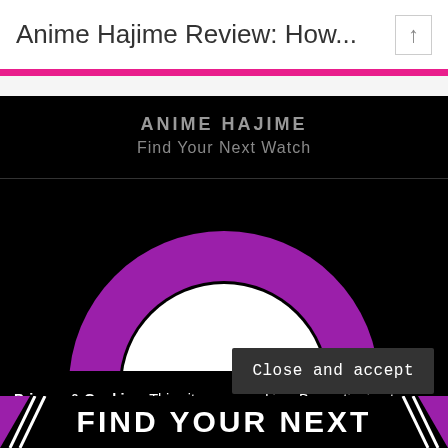Anime Hajime Review: How...
[Figure (logo): Anime Hajime logo with purple semicircle arc on black background, with text 'ANIME HAJIME' and 'Find Your Next Watch']
Privacy & Cookies: This site uses cookies. By continuing to use this website, you agree to their use.
To find out more, including how to control cookies, see here: Cookie Policy
Close and accept
FIND YOUR NEXT